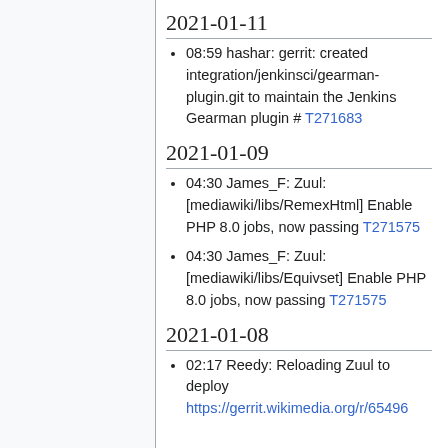2021-01-11
08:59 hashar: gerrit: created integration/jenkinsci/gearman-plugin.git to maintain the Jenkins Gearman plugin # T271683
2021-01-09
04:30 James_F: Zuul: [mediawiki/libs/RemexHtml] Enable PHP 8.0 jobs, now passing T271575
04:30 James_F: Zuul: [mediawiki/libs/Equivset] Enable PHP 8.0 jobs, now passing T271575
2021-01-08
02:17 Reedy: Reloading Zuul to deploy https://gerrit.wikimedia.org/r/65496